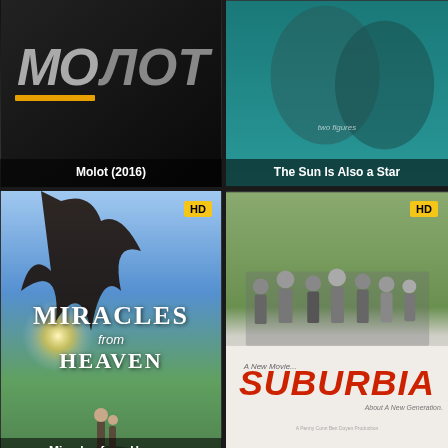[Figure (photo): Movie poster for Molot (2016), dark action film]
[Figure (photo): Movie poster for The Sun Is Also a Star, two people looking up on teal background]
[Figure (photo): Movie poster for Miracles from Heaven (2016), with HD badge, dramatic sky and tree silhouette]
[Figure (photo): Movie poster for Suburbia (1983), with HD badge, group of people and red logo]
[Figure (photo): Movie poster featuring LL Cool J, with HD badge, dark red tones, DVD cover]
[Figure (photo): Green countryside landscape film poster, with HD badge and Berlinale badge]